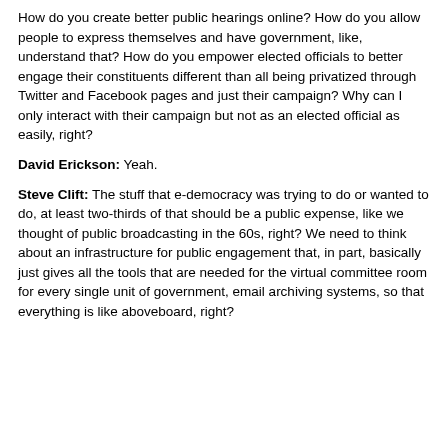How do you create better public hearings online? How do you allow people to express themselves and have government, like, understand that? How do you empower elected officials to better engage their constituents different than all being privatized through Twitter and Facebook pages and just their campaign? Why can I only interact with their campaign but not as an elected official as easily, right?
David Erickson: Yeah.
Steve Clift: The stuff that e-democracy was trying to do or wanted to do, at least two-thirds of that should be a public expense, like we thought of public broadcasting in the 60s, right? We need to think about an infrastructure for public engagement that, in part, basically just gives all the tools that are needed for the virtual committee room for every single unit of government, email archiving systems, so that everything is like aboveboard, right?